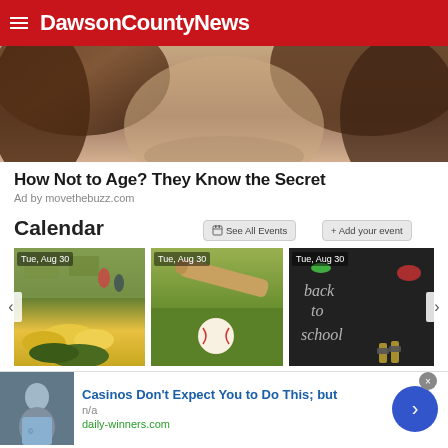DawsonCountyNews
[Figure (photo): Close-up photo of a woman's face and hair]
How Not to Age? They Know the Secret
Ad by movethebuzz.com
Calendar
[Figure (screenshot): Calendar event image 1: Tue, Aug 30 - vegetables/produce at market]
[Figure (screenshot): Calendar event image 2: Tue, Aug 30 - baseball bat and ball on grass]
[Figure (screenshot): Calendar event image 3: Tue, Aug 30 - back to school chalkboard]
[Figure (photo): Bottom advertisement: Casinos Don't Expect You to Do This; but - daily-winners.com]
Casinos Don't Expect You to Do This; but
n/a
daily-winners.com